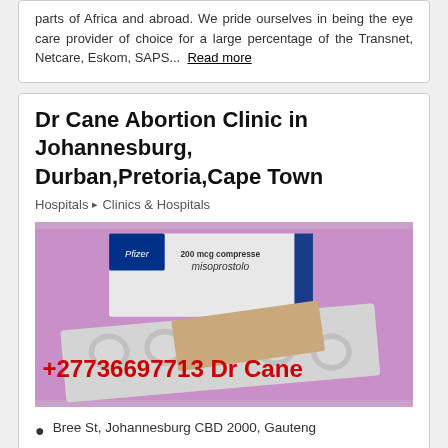parts of Africa and abroad. We pride ourselves in being the eye care provider of choice for a large percentage of the Transnet, Netcare, Eskom, SAPS... Read more
Dr Cane Abortion Clinic in Johannesburg, Durban,Pretoria,Cape Town
Hospitals > Clinics & Hospitals
[Figure (photo): Pfizer misoprostol 200 mcg tablets in blister pack on purple background with phone number +27736697713 Dr Cane overlaid in red text]
Bree St, Johannesburg CBD 2000, Gauteng
2-5 km from Paarlshoop
Awards: #22 Most Popular in Gauteng for 2019